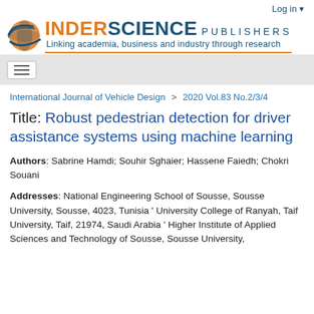[Figure (logo): Inderscience Publishers logo with globe icon, orange and blue text reading INDERSCIENCE PUBLISHERS, tagline: Linking academia, business and industry through research]
Log in
International Journal of Vehicle Design > 2020 Vol.83 No.2/3/4
Title: Robust pedestrian detection for driver assistance systems using machine learning
Authors: Sabrine Hamdi; Souhir Sghaier; Hassene Faiedh; Chokri Souani
Addresses: National Engineering School of Sousse, Sousse University, Sousse, 4023, Tunisia ' University College of Ranyah, Taif University, Taif, 21974, Saudi Arabia ' Higher Institute of Applied Sciences and Technology of Sousse, Sousse University,